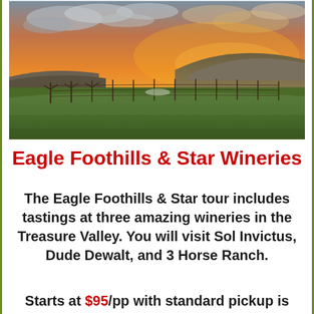[Figure (photo): Landscape photo of a vineyard or ranch field at sunset, with green grass in the foreground, bare grape vine posts in mid-ground, rolling hills in the background, and a dramatic orange and pink sunset sky with clouds.]
Eagle Foothills & Star Wineries
The Eagle Foothills & Star tour includes tastings at three amazing wineries in the Treasure Valley. You will visit Sol Invictus, Dude Dewalt, and 3 Horse Ranch.
Starts at $95/pp with standard pickup is